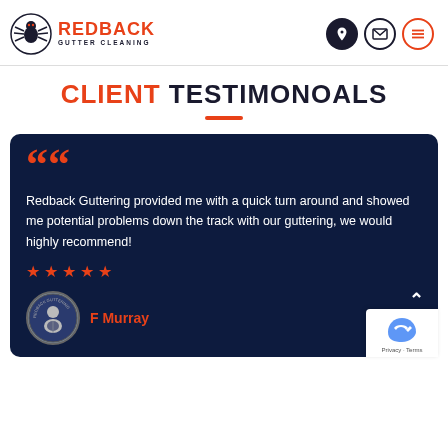[Figure (logo): Redback Gutter Cleaning logo with spider icon and company name]
CLIENT TESTIMONOALS
Redback Guttering provided me with a quick turn around and showed me potential problems down the track with our guttering, we would highly recommend!
★★★★★
F Murray